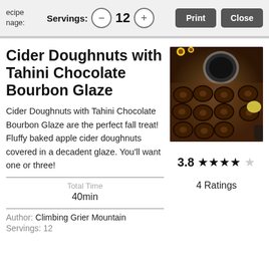Recipe page: Servings: 12  Print  Close
Cider Doughnuts with Tahini Chocolate Bourbon Glaze
Cider Doughnuts with Tahini Chocolate Bourbon Glaze are the perfect fall treat! Fluffy baked apple cider doughnuts covered in a decadent glaze. You’ll want one or three!
[Figure (photo): Overhead photo of chocolate glazed doughnuts on a wooden board with a cup of coffee and sunflowers]
Total Time
40min
Author: Climbing Grier Mountain
Servings: 12
3.8 ★★★★☆
4 Ratings